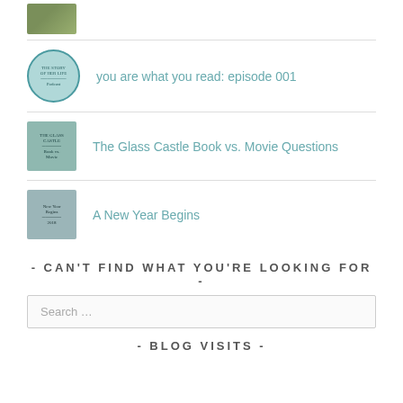[Figure (photo): Small thumbnail image of two people outdoors on grass]
you are what you read: episode 001
The Glass Castle Book vs. Movie Questions
A New Year Begins
- CAN'T FIND WHAT YOU'RE LOOKING FOR -
Search …
- BLOG VISITS -